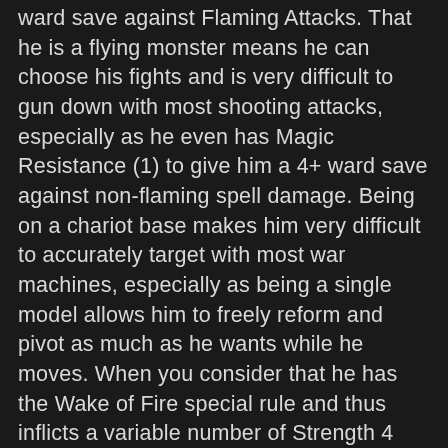ward save against Flaming Attacks. That he is a flying monster means he can choose his fights and is very difficult to gun down with most shooting attacks, especially as he even has Magic Resistance (1) to give him a 4+ ward save against non-flaming spell damage. Being on a chariot base makes him very difficult to accurately target with most war machines, especially as being a single model allows him to freely reform and pivot as much as he wants while he moves. When you consider that he has the Wake of Fire special rule and thus inflicts a variable number of Strength 4 Flaming hits that increases exponentially based on the number of ranks a unit has when he moves over them, this makes him incredibly difficult to pin down while being able to do damage in every part of the game. When he is in combat, few things - even 1+ armoured monstrous cavalry - are capable of standing up against him, while he can destroy hordes with his Wake of Fire special rule if there are no good targets to charge - a 20" move and a relatively small base size allows Caradryan to be very free with his movement.
This is made even better by the fact that Caradryan is now a Level 3 Wizard that is a Loremaster of the Lore of Fire,